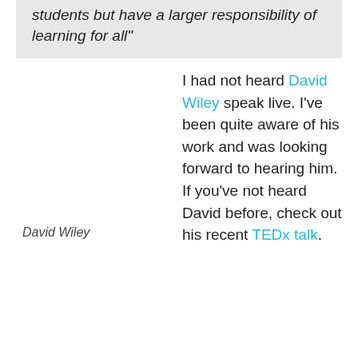students but have a larger responsibility of learning for all"
I had not heard David Wiley speak live. I've been quite aware of his work and was looking forward to hearing him. If you've not heard David before, check out his recent TEDx talk. David eloquently shared on openness and addressed head on the barriers and resistance to openness. I couldn't imagine anyone being able to argue intelligently against his ideas. I'm sure there are those who might try but his ideas are pretty rock solid
David Wiley